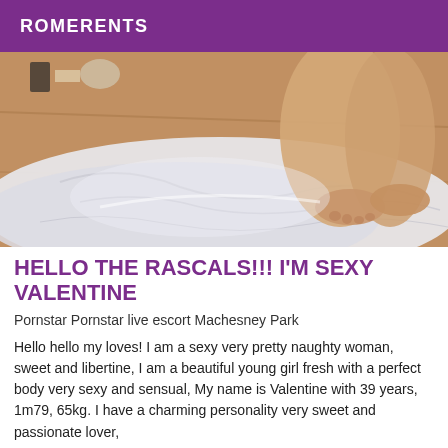ROMERENTS
[Figure (photo): Photo showing feet/legs on a white cloth or sheet on a wooden floor surface, with some items visible in background]
HELLO THE RASCALS!!! I'M SEXY VALENTINE
Pornstar Pornstar live escort Machesney Park
Hello hello my loves! I am a sexy very pretty naughty woman, sweet and libertine, I am a beautiful young girl fresh with a perfect body very sexy and sensual, My name is Valentine with 39 years, 1m79, 65kg. I have a charming personality very sweet and passionate lover, and the finest quality and to be a discreet...